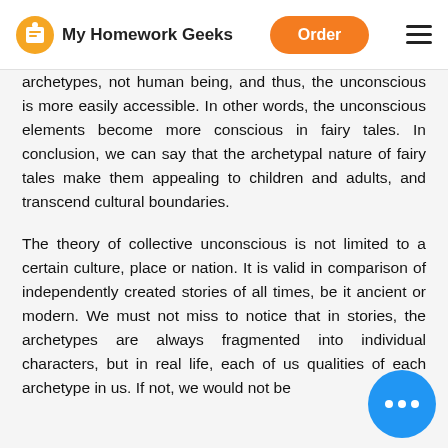My Homework Geeks | Order
archetypes, not human being, and thus, the unconscious is more easily accessible. In other words, the unconscious elements become more conscious in fairy tales. In conclusion, we can say that the archetypal nature of fairy tales make them appealing to children and adults, and transcend cultural boundaries.
The theory of collective unconscious is not limited to a certain culture, place or nation. It is valid in comparison of independently created stories of all times, be it ancient or modern. We must not miss to notice that in stories, the archetypes are always fragmented into individual characters, but in real life, each of us qualities of each archetype in us. If not, we would not be